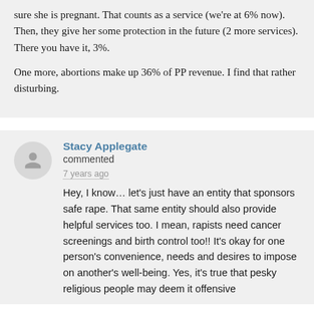sure she is pregnant. That counts as a service (we're at 6% now). Then, they give her some protection in the future (2 more services). There you have it, 3%.

One more, abortions make up 36% of PP revenue. I find that rather disturbing.
Stacy Applegate commented 7 years ago Hey, I know… let's just have an entity that sponsors safe rape. That same entity should also provide helpful services too. I mean, rapists need cancer screenings and birth control too!! It's okay for one person's convenience, needs and desires to impose on another's well-being. Yes, it's true that pesky religious people may deem it offensive